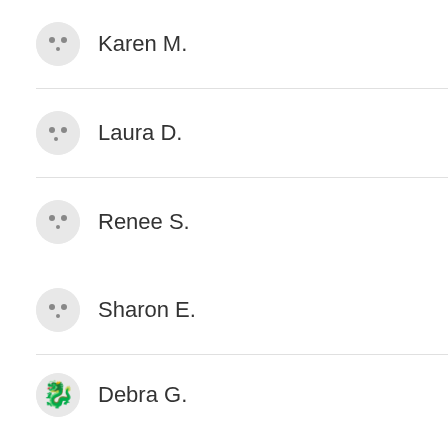Karen M.
Laura D.
Renee S.
Sharon E.
Debra G.